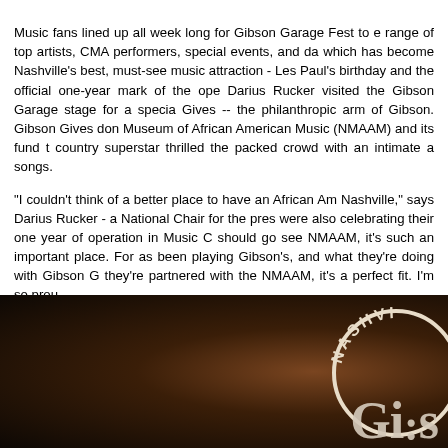Music fans lined up all week long for Gibson Garage Fest to experience a range of top artists, CMA performers, special events, and daily activities which has become Nashville's best, must-see music attraction. On June 9th - Les Paul's birthday and the official one-year mark of the opening date - Darius Rucker visited the Gibson Garage stage for a special Gibson Gives -- the philanthropic arm of Gibson. Gibson Gives donated to the National Museum of African American Music (NMAAM) and its fund the night. The country superstar thrilled the packed crowd with an intimate acoustic set of songs.
"I couldn't think of a better place to have an African American music in Nashville," says Darius Rucker - a National Chair for the prestigious NMAAM - we were also celebrating their one year of operation in Music City. "Everyone should go see NMAAM, it's such an important place. For as long as I have been playing Gibson's, and what they're doing with Gibson Gives, and now they're partnered with the NMAAM, it's a perfect fit. I'm so proud.
[Figure (photo): Dark concert photo showing a performer on stage with a Nashville Gibson logo/sign visible in the upper right corner. The image is partially cropped showing the right side with 'NASHVI...' text in a circle and 'Gib...' text below it.]